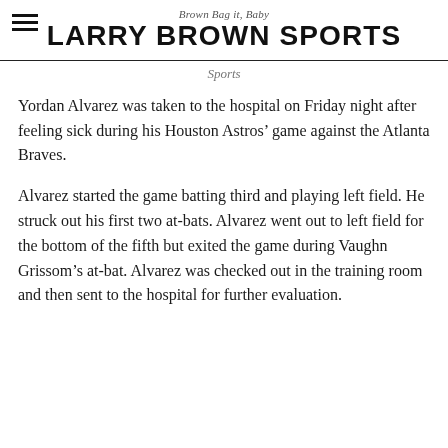Brown Bag it, Baby
LARRY BROWN SPORTS
Sports
Yordan Alvarez was taken to the hospital on Friday night after feeling sick during his Houston Astros' game against the Atlanta Braves.
Alvarez started the game batting third and playing left field. He struck out his first two at-bats. Alvarez went out to left field for the bottom of the fifth but exited the game during Vaughn Grissom's at-bat. Alvarez was checked out in the training room and then sent to the hospital for further evaluation.